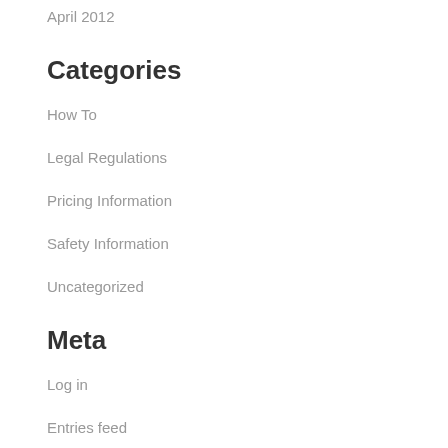April 2012
Categories
How To
Legal Regulations
Pricing Information
Safety Information
Uncategorized
Meta
Log in
Entries feed
Comments feed
WordPress.org